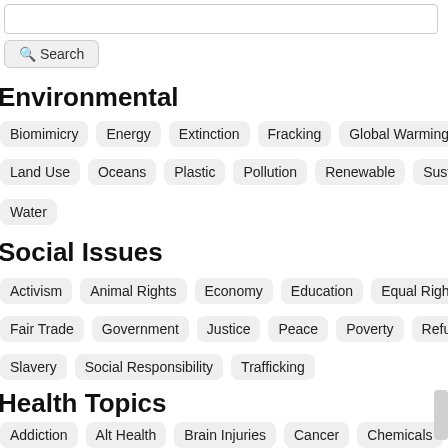Search
Environmental
Biomimicry
Energy
Extinction
Fracking
Global Warming
Land Use
Oceans
Plastic
Pollution
Renewable
Sustainability
Water
Social Issues
Activism
Animal Rights
Economy
Education
Equal Rights
Fair Trade
Government
Justice
Peace
Poverty
Refugees
Slavery
Social Responsibility
Trafficking
Health Topics
Addiction
Alt Health
Brain Injuries
Cancer
Chemicals
Drugs
Food
GMO
Healing
Healthy Living
Mental Health
Mercury
Organic
Radiation
Wellness